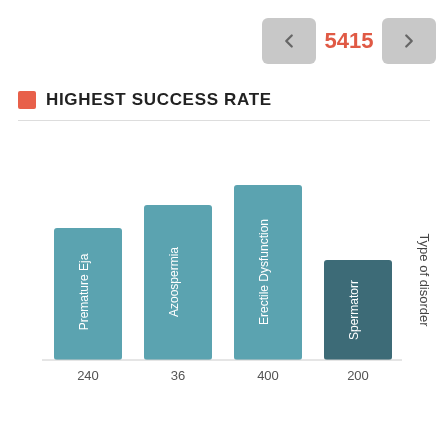← 5415 →
HIGHEST SUCCESS RATE
[Figure (bar-chart): HIGHEST SUCCESS RATE]